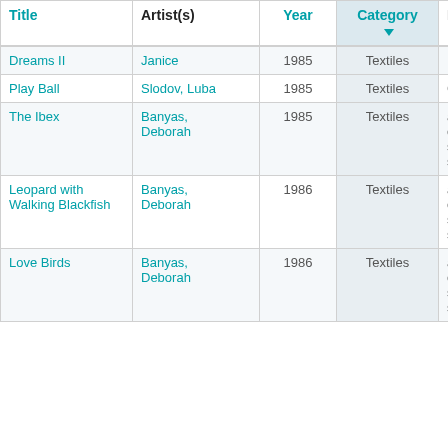| Title | Artist(s) | Year | Category | Medium |
| --- | --- | --- | --- | --- |
| Dreams II | Janice | 1985 | Textiles | Mixed media |
| Play Ball | Slodov, Luba | 1985 | Textiles | Cotton |
| The Ibex | Banyas, Deborah | 1985 | Textiles | appliqued, embroidered, stitched, and stuffed cotton |
| Leopard with Walking Blackfish | Banyas, Deborah | 1986 | Textiles | appliqued, embroidered, stitched, and stuffed cotton |
| Love Birds | Banyas, Deborah | 1986 | Textiles | appliqued, embroidered, stitched, and stuffed cotton |